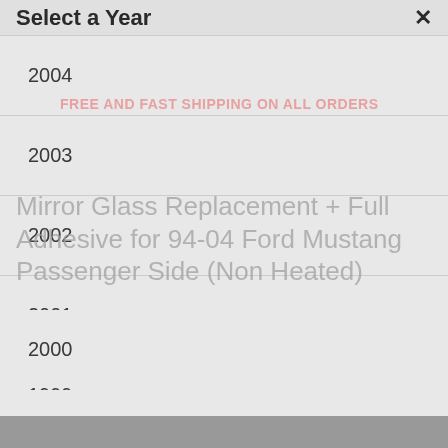Select a Year
FREE AND FAST SHIPPING ON ALL ORDERS
Mirror Glass Replacement + Full Adhesive for 94-04 Ford Mustang Passenger Side (Non Heated)
2004
2003
2002
2001
2000
1999
1998